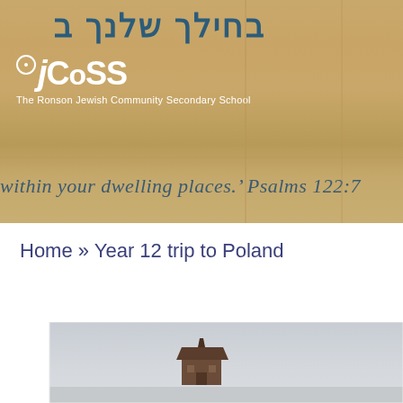[Figure (photo): JCoSS school building facade with wooden panel exterior, Hebrew text inscription and JCoSS logo with subtitle 'The Ronson Jewish Community Secondary School'. A quote reads: 'within your dwelling places.' Psalms 122:7]
Home » Year 12 trip to Poland
[Figure (photo): Wide landscape photo showing a small guard tower or gatehouse building centered in frame against a large grey overcast sky, with flat ground visible at the bottom – appears to be Auschwitz-Birkenau or similar Holocaust memorial site.]